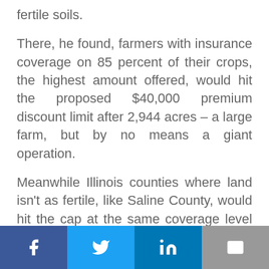fertile soils.
There, he found, farmers with insurance coverage on 85 percent of their crops, the highest amount offered, would hit the proposed $40,000 premium discount limit after 2,944 acres – a large farm, but by no means a giant operation.
Meanwhile Illinois counties where land isn't as fertile, like Saline County, would hit the cap at the same coverage level on just 884 acres – a mid-sized farm similar
[Figure (infographic): Social sharing bar with four buttons: Facebook (dark blue), Twitter (light blue), LinkedIn (medium blue), Email (gray)]